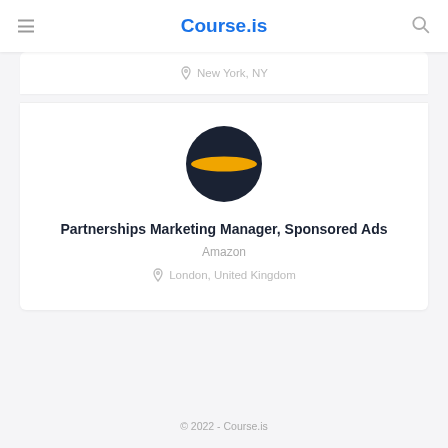Course.is
New York, NY
[Figure (logo): Amazon dark sphere logo with orange horizontal stripe across the middle]
Partnerships Marketing Manager, Sponsored Ads
Amazon
London, United Kingdom
© 2022 - Course.is